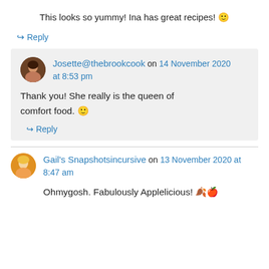This looks so yummy! Ina has great recipes! 🙂
↪ Reply
Josette@thebrookcook on 14 November 2020 at 8:53 pm
Thank you! She really is the queen of comfort food. 🙂
↪ Reply
Gail's Snapshotsincursive on 13 November 2020 at 8:47 am
Ohmygosh. Fabulously Applelicious! 🍂🍎